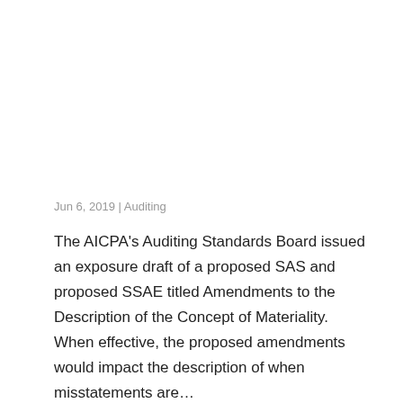Jun 6, 2019 | Auditing
The AICPA’s Auditing Standards Board issued an exposure draft of a proposed SAS and proposed SSAE titled Amendments to the Description of the Concept of Materiality. When effective, the proposed amendments would impact the description of when misstatements are…